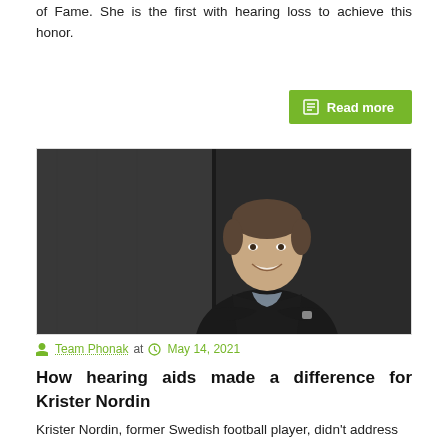of Fame. She is the first with hearing loss to achieve this honor.
[Figure (other): Green 'Read more' button with document icon]
[Figure (photo): Portrait photo of Krister Nordin, a smiling man with arms crossed wearing a dark sweater, standing in front of a dark wall]
Team Phonak at  May 14, 2021
How hearing aids made a difference for Krister Nordin
Krister Nordin, former Swedish football player, didn't address